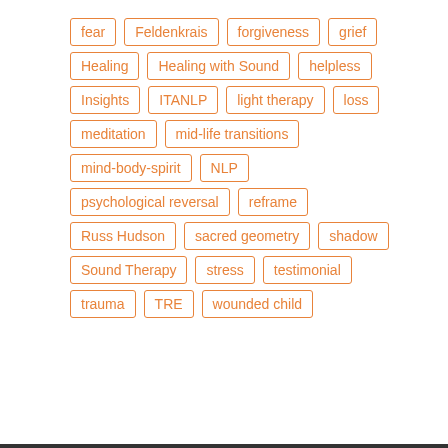fear
Feldenkrais
forgiveness
grief
Healing
Healing with Sound
helpless
Insights
ITANLP
light therapy
loss
meditation
mid-life transitions
mind-body-spirit
NLP
psychological reversal
reframe
Russ Hudson
sacred geometry
shadow
Sound Therapy
stress
testimonial
trauma
TRE
wounded child